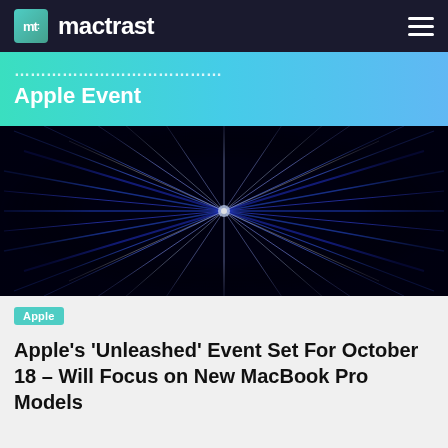mactrast
[Figure (screenshot): Banner with gradient teal/blue background showing partial text 'Apple Event']
[Figure (photo): Dark starburst / warp-speed light rays radiating from center on black background with blue and white streaks]
Apple
Apple's ‘Unleashed’ Event Set For October 18 – Will Focus on New MacBook Pro Models